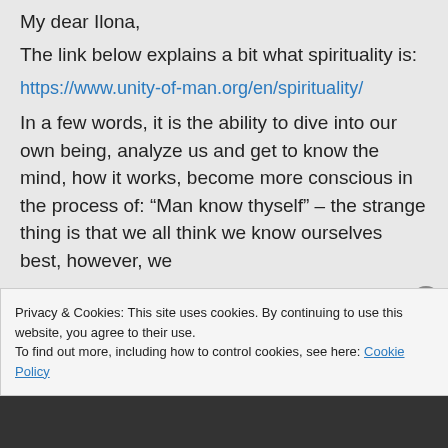My dear Ilona,
The link below explains a bit what spirituality is:
https://www.unity-of-man.org/en/spirituality/
In a few words, it is the ability to dive into our own being, analyze us and get to know the mind, how it works, become more conscious in the process of: “Man know thyself” – the strange thing is that we all think we know ourselves best, however, we
Privacy & Cookies: This site uses cookies. By continuing to use this website, you agree to their use.
To find out more, including how to control cookies, see here: Cookie Policy
Close and accept